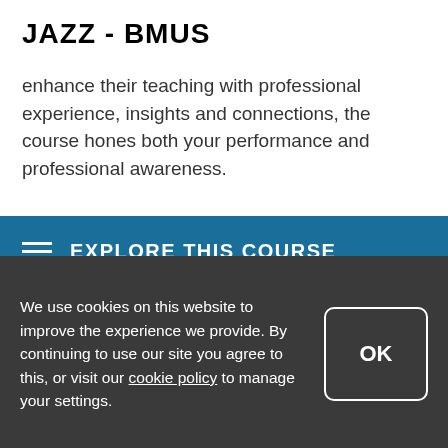JAZZ - BMUS
enhance their teaching with professional experience, insights and connections, the course hones both your performance and professional awareness.
EXPLORE THIS COURSE
to prepare for a successful career in the music profession.
As well as having our own club that has taken its place on Birmingham's vibrant jazz scene, our students enjoy professional experience opportunities with external gigs
We use cookies on this website to improve the experience we provide. By continuing to use our site you agree to this, or visit our cookie policy to manage your settings.